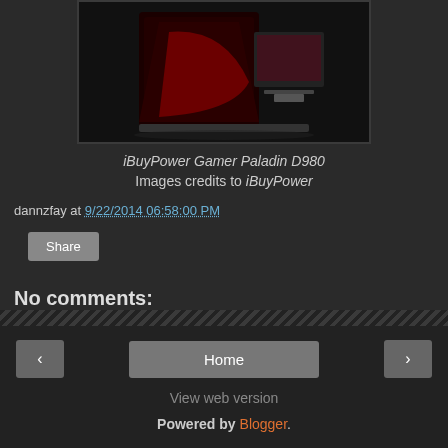[Figure (photo): iBuyPower Gamer Paladin D980 gaming PC with red and black design and monitor]
iBuyPower Gamer Paladin D980
Images credits to iBuyPower
dannzfay at 9/22/2014 06:58:00 PM
Share
No comments:
Post a Comment
Home | View web version | Powered by Blogger.